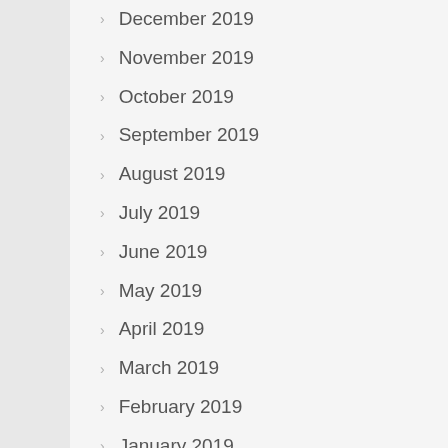December 2019
November 2019
October 2019
September 2019
August 2019
July 2019
June 2019
May 2019
April 2019
March 2019
February 2019
January 2019
December 2018
November 2018
October 2018
September 2018
August 2018
July 2018